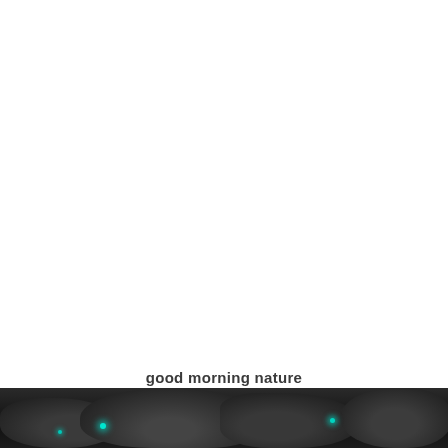good morning nature
[Figure (photo): Dark grayscale nature photograph showing rocky stones/ground with small cyan/turquoise glowing dots, visible at the bottom of the page.]